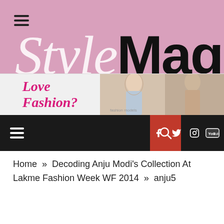StyleMag
[Figure (screenshot): StyleMag website header with pink background, hamburger menu icon, StyleMag logo in white italic serif and black sans-serif, and a fashion ad banner with 'Love Fashion?' text and model photos]
[Figure (screenshot): Dark navigation bar with hamburger menu, red search button with magnifying glass icon, and social media icons for Facebook, Twitter, Instagram, and YouTube]
Home » Decoding Anju Modi's Collection At Lakme Fashion Week WF 2014 » anju5